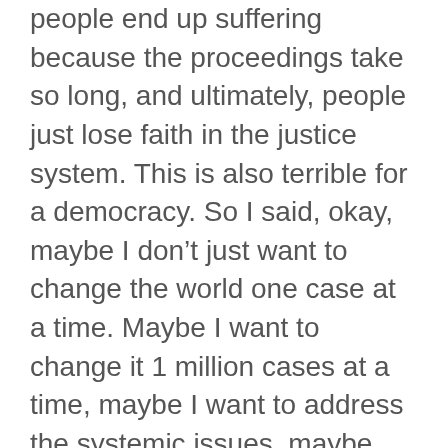people end up suffering because the proceedings take so long, and ultimately, people just lose faith in the justice system. This is also terrible for a democracy. So I said, okay, maybe I don't just want to change the world one case at a time. Maybe I want to change it 1 million cases at a time, maybe I want to address the systemic issues, maybe even change the system.
I ended up working in litigation and arbitration at a top Latin American law firm for a few years. But I wanted to bring more of the reasons that made me want to become a lawyer into my practice. I met with the firm's technology team, and the work they were doing resonated with me—